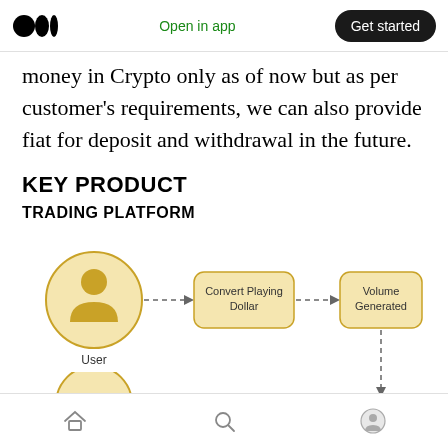Open in app | Get started
money in Crypto only as of now but as per customer's requirements, we can also provide fiat for deposit and withdrawal in the future.
KEY PRODUCT
TRADING PLATFORM
[Figure (flowchart): Flowchart showing: User (person icon in gold circle) → Convert Playing Dollar (gold rounded rectangle) → Volume Generated (gold rounded rectangle), with a dashed downward arrow continuing below from Volume Generated.]